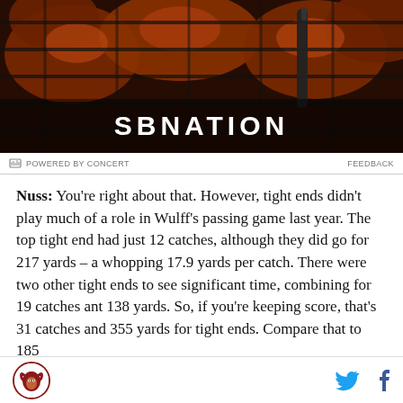[Figure (photo): SBNation advertisement banner showing BBQ ribs on a grill with tongs, with the SBNation logo overlaid in white text]
POWERED BY CONCERT    FEEDBACK
Nuss: You're right about that. However, tight ends didn't play much of a role in Wulff's passing game last year. The top tight end had just 12 catches, although they did go for 217 yards – a whopping 17.9 yards per catch. There were two other tight ends to see significant time, combining for 19 catches ant 138 yards. So, if you're keeping score, that's 31 catches and 355 yards for tight ends. Compare that to 185
Site logo and social media icons (Twitter, Facebook)